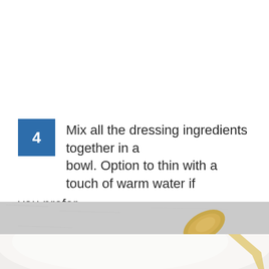4 Mix all the dressing ingredients together in a bowl. Option to thin with a touch of warm water if you prefer.
[Figure (photo): Top-down view of a dark bowl and a gold spoon on a grey concrete surface, with a white creamy sauce visible at the bottom.]